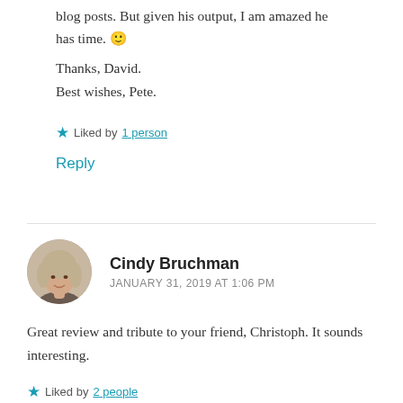blog posts. But given his output, I am amazed he has time. 🙂
Thanks, David.
Best wishes, Pete.
★ Liked by 1 person
Reply
Cindy Bruchman
JANUARY 31, 2019 AT 1:06 PM
Great review and tribute to your friend, Christoph. It sounds interesting.
★ Liked by 2 people